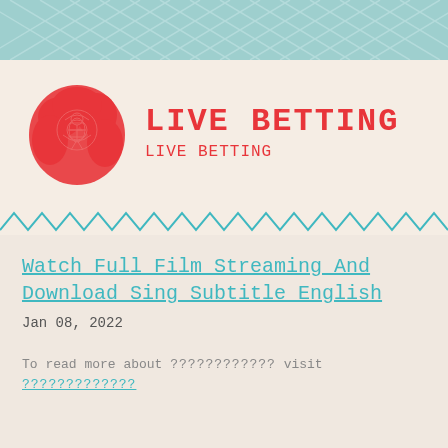[Figure (illustration): Top decorative band with teal/cyan diamond lattice pattern]
[Figure (logo): Red flower/rose illustration logo for Live Betting]
LIVE BETTING
LIVE BETTING
[Figure (illustration): Teal chevron/wave decorative divider band]
Watch Full Film Streaming And Download Sing Subtitle English
Jan 08, 2022
To read more about ???????????? visit ?????????????